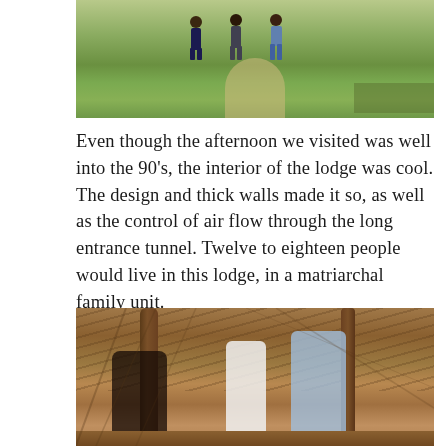[Figure (photo): Outdoor photo showing a grassy area with a dirt path and several people standing in the background near what appears to be a historic earthlodge site.]
Even though the afternoon we visited was well into the 90's, the interior of the lodge was cool. The design and thick walls made it so, as well as the control of air flow through the long entrance tunnel. Twelve to eighteen people would live in this lodge, in a matriarchal family unit.
[Figure (photo): Interior photo of a historic earthlodge showing wooden post framework and thatched roof structure, with three people (a woman seated on the left, and two men standing in the center and right) inside the lodge.]